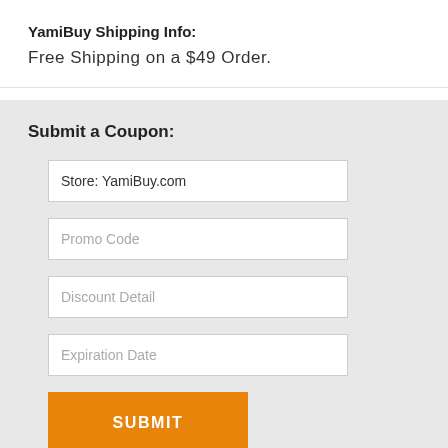YamiBuy Shipping Info:
Free Shipping on a $49 Order.
Submit a Coupon:
Store: YamiBuy.com
Promo Code
Discount Detail
Expiration Date
SUBMIT